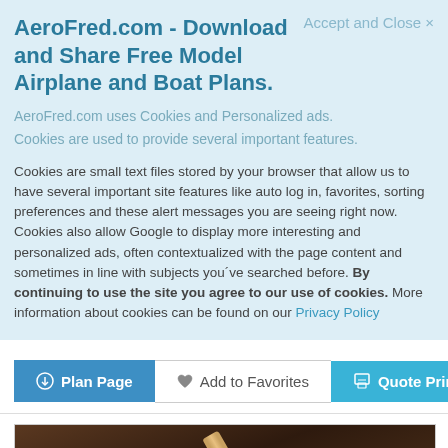AeroFred.com - Download and Share Free Model Airplane and Boat Plans.
Accept and Close ×
AeroFred.com uses Cookies and Personalized ads.
Cookies are used to provide several important features.
Cookies are small text files stored by your browser that allow us to have several important site features like auto log in, favorites, sorting preferences and these alert messages you are seeing right now. Cookies also allow Google to display more interesting and personalized ads, often contextualized with the page content and sometimes in line with subjects you've searched before. By continuing to use the site you agree to our use of cookies. More information about cookies can be found on our Privacy Policy
[Figure (screenshot): Three buttons: Plan Page (blue), Add to Favorites (white with heart icon), Quote Prints (cyan with printer icon)]
[Figure (photo): Photo of a wooden stick or model airplane part on a dark wooden surface]